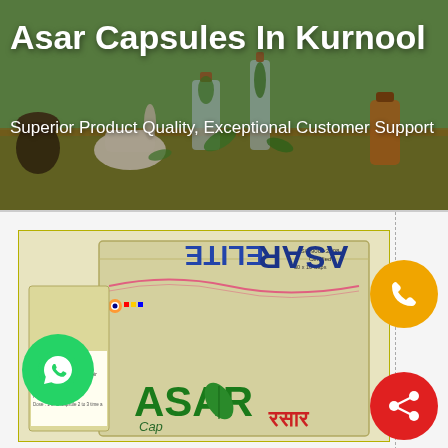Asar Capsules In Kurnool
Superior Product Quality, Exceptional Customer Support
[Figure (photo): Product photo of Asar Capsules packaging showing front and back of the box with Hindi/Devanagari text, leaf logo, and usage instructions. Green WhatsApp icon on left, yellow phone icon top right, red share icon bottom right.]